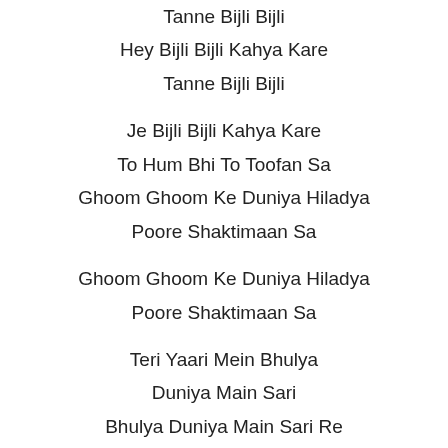Tanne Bijli Bijli
Hey Bijli Bijli Kahya Kare
Tanne Bijli Bijli
Je Bijli Bijli Kahya Kare
To Hum Bhi To Toofan Sa
Ghoom Ghoom Ke Duniya Hiladya
Poore Shaktimaan Sa
Ghoom Ghoom Ke Duniya Hiladya
Poore Shaktimaan Sa
Teri Yaari Mein Bhulya
Duniya Main Sari
Bhulya Duniya Main Sari Re